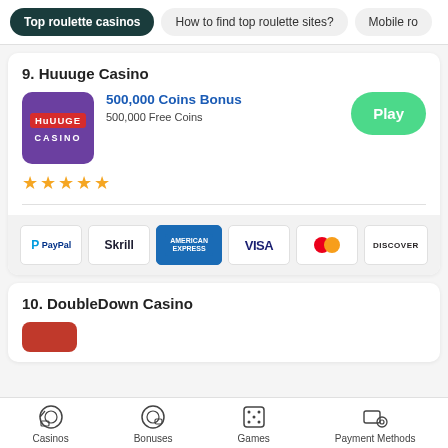Top roulette casinos | How to find top roulette sites? | Mobile ro...
9. Huuuge Casino
[Figure (logo): Huuuge Casino purple logo with red badge]
500,000 Coins Bonus
500,000 Free Coins
Play
★★★★★
[Figure (infographic): Payment method icons: PayPal, Skrill, American Express, Visa, Mastercard, Discover]
10. DoubleDown Casino
Casinos | Bonuses | Games | Payment Methods